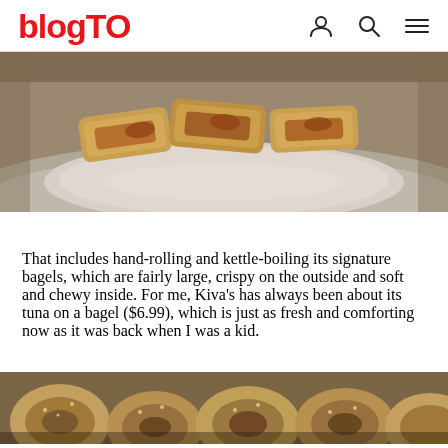blogTO
[Figure (photo): Close-up photo of rolled/stuffed pastry or bagel items on a plate, golden-brown in color, on a reflective surface]
That includes hand-rolling and kettle-boiling its signature bagels, which are fairly large, crispy on the outside and soft and chewy inside. For me, Kiva's has always been about its tuna on a bagel ($6.99), which is just as fresh and comforting now as it was back when I was a kid.
[Figure (photo): Close-up photo of assorted bagels and baked goods, partially visible at bottom of page]